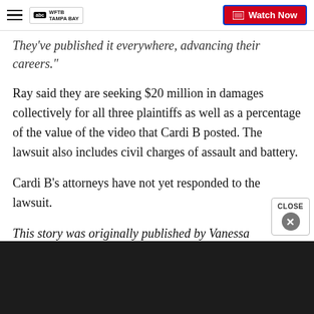WFTB Tampa Bay — Watch Now
They've published it everywhere, advancing their careers."
Ray said they are seeking $20 million in damages collectively for all three plaintiffs as well as a percentage of the value of the video that Cardi B posted. The lawsuit also includes civil charges of assault and battery.
Cardi B's attorneys have not yet responded to the lawsuit.
This story was originally published by Vanessa